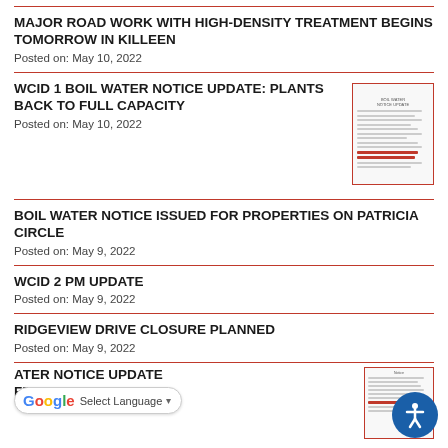MAJOR ROAD WORK WITH HIGH-DENSITY TREATMENT BEGINS TOMORROW IN KILLEEN
Posted on: May 10, 2022
WCID 1 BOIL WATER NOTICE UPDATE: PLANTS BACK TO FULL CAPACITY
Posted on: May 10, 2022
[Figure (photo): Thumbnail image of a document notice]
BOIL WATER NOTICE ISSUED FOR PROPERTIES ON PATRICIA CIRCLE
Posted on: May 9, 2022
WCID 2 PM UPDATE
Posted on: May 9, 2022
RIDGEVIEW DRIVE CLOSURE PLANNED
Posted on: May 9, 2022
ATER NOTICE UPDATE FROM WCID
[Figure (photo): Thumbnail image of a document notice]